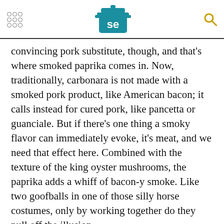Serious Eats logo with navigation dots and search icon
convincing pork substitute, though, and that's where smoked paprika comes in. Now, traditionally, carbonara is not made with a smoked pork product, like American bacon; it calls instead for cured pork, like pancetta or guanciale. But if there's one thing a smoky flavor can immediately evoke, it's meat, and we need that effect here. Combined with the texture of the king oyster mushrooms, the paprika adds a whiff of bacon-y smoke. Like two goofballs in one of those silly horse costumes, only by working together do they pull off the illusion.
[Figure (infographic): Advertisement for Benjamin Moore paint color Avocado with avocado image and text: When you choose the Benjamin Moore color Avocado, Don't end up with another brand's Rotten Fruit]